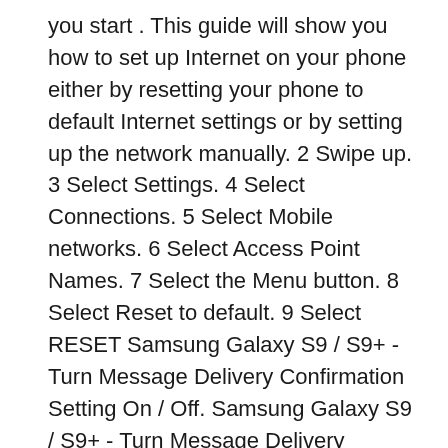you start . This guide will show you how to set up Internet on your phone either by resetting your phone to default Internet settings or by setting up the network manually. 2 Swipe up. 3 Select Settings. 4 Select Connections. 5 Select Mobile networks. 6 Select Access Point Names. 7 Select the Menu button. 8 Select Reset to default. 9 Select RESET Samsung Galaxy S9 / S9+ - Turn Message Delivery Confirmation Setting On / Off. Samsung Galaxy S9 / S9+ - Turn Message Delivery Confirmation Setting On / Off. Connect with us on Messenger . Visit Community . 24/7 automated phone system: call *611 from your mobile
I recently purchased a used Galaxy S9 that was